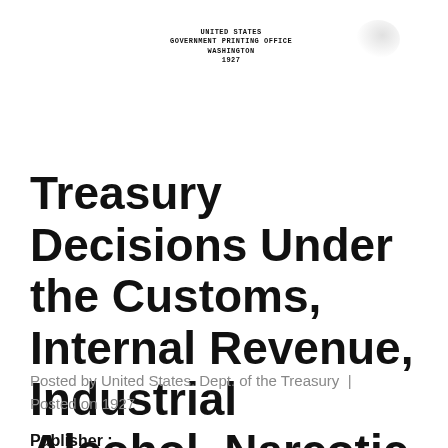UNITED STATES
GOVERNMENT PRINTING OFFICE
WASHINGTON
1927
Treasury Decisions Under the Customs, Internal Revenue, Industrial Alcohol, Narcotic and Other Laws
Posted by United States. Dept. of the Treasury | Posted on 1927
Publisher :